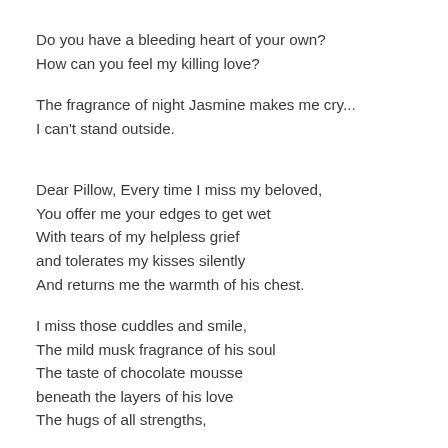Do you have a bleeding heart of your own?
How can you feel my killing love?

The fragrance of night Jasmine makes me cry...
I can't stand outside.


Dear Pillow, Every time I miss my beloved,
You offer me your edges to get wet
With tears of my helpless grief
and tolerates my kisses silently
And returns me the warmth of his chest.

I miss those cuddles and smile,
The mild musk fragrance of his soul
The taste of chocolate mousse
beneath the layers of his love
The hugs of all strengths,